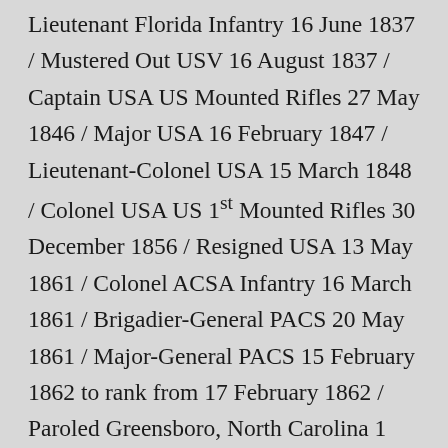Lieutenant Florida Infantry 16 June 1837 / Mustered Out USV 16 August 1837 / Captain USA US Mounted Rifles 27 May 1846 / Major USA 16 February 1847 / Lieutenant-Colonel USA 15 March 1848 / Colonel USA US 1st Mounted Rifles 30 December 1856 / Resigned USA 13 May 1861 / Colonel ACSA Infantry 16 March 1861 / Brigadier-General PACS 20 May 1861 / Major-General PACS 15 February 1862 to rank from 17 February 1862 / Paroled Greensboro, North Carolina 1 May 1865 / Brigadier-General Egyptian Army 1869 / Major-General Egyptian Army 1869-1879 / Brevet Lieutenant-Colonel USA 20 August 1847 / Brevet Colonel USA 13 September 1847 / WIA Churubusco 20 August 1847 WIA Chapultepec 13 September 1847 WIA